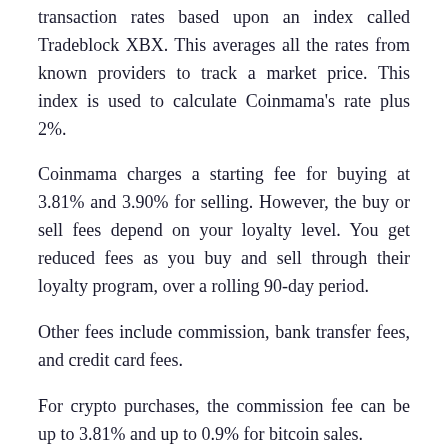transaction rates based upon an index called Tradeblock XBX. This averages all the rates from known providers to track a market price. This index is used to calculate Coinmama's rate plus 2%.
Coinmama charges a starting fee for buying at 3.81% and 3.90% for selling. However, the buy or sell fees depend on your loyalty level. You get reduced fees as you buy and sell through their loyalty program, over a rolling 90-day period.
Other fees include commission, bank transfer fees, and credit card fees.
For crypto purchases, the commission fee can be up to 3.81% and up to 0.9% for bitcoin sales.
There are different payment fees depending on the method used to make purchases. For example, purchases made with a credit card, debit card, Google Pay, or Apple Pay will incur an additional